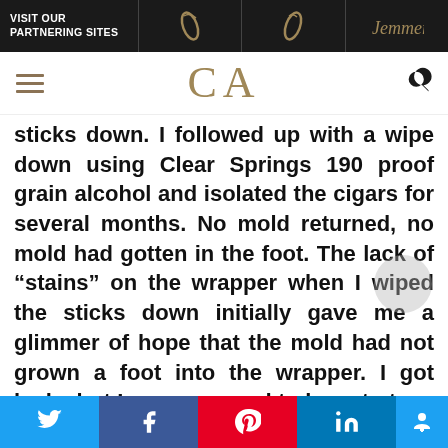VISIT OUR PARTNERING SITES
CA
sticks down. I followed up with a wipe down using Clear Springs 190 proof grain alcohol and isolated the cigars for several months. No mold returned, no mold had gotten in the foot. The lack of “stains” on the wrapper when I wiped the sticks down initially gave me a glimmer of hope that the mold had not grown a foot into the wrapper. I got lucky but I was prepared to have to toss the whole box. Hope that helps clear up the cello, and tubo, storage questions you had.